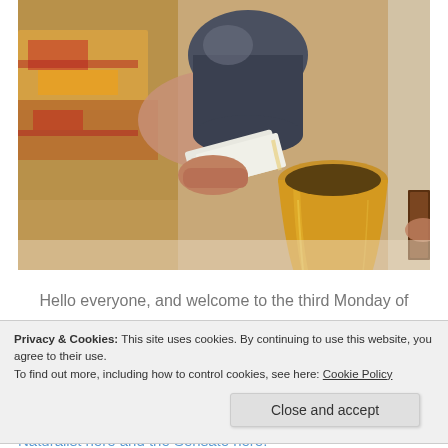[Figure (photo): A photograph of a person in colorful liturgical robes pouring liquid from a dark ceramic pitcher into a golden chalice/goblet, with a white cloth in hand. The scene appears to be a religious ceremony, likely Christian communion/Eucharist.]
Hello everyone, and welcome to the third Monday of
Privacy & Cookies: This site uses cookies. By continuing to use this website, you agree to their use.
To find out more, including how to control cookies, see here: Cookie Policy
Close and accept
Naturalist here and the Sensate here.